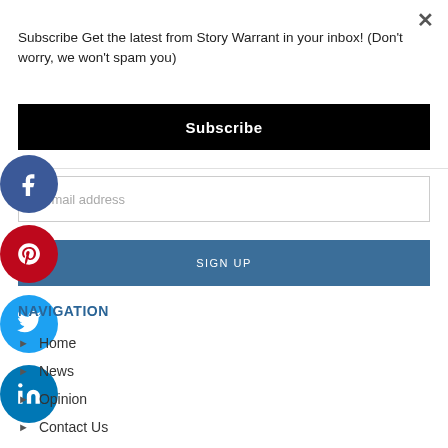× (close button)
Subscribe Get the latest from Story Warrant in your inbox! (Don't worry, we won't spam you)
Subscribe
[Figure (illustration): Facebook social share button - blue circle with white 'f' icon]
[Figure (illustration): Pinterest social share button - red circle with white 'p' icon]
[Figure (illustration): Twitter social share button - light blue circle with white bird icon]
[Figure (illustration): LinkedIn social share button - dark blue circle with white 'in' icon]
ur email address
SIGN UP
NAVIGATION
Home
News
Opinion
Contact Us
Privacy Policy